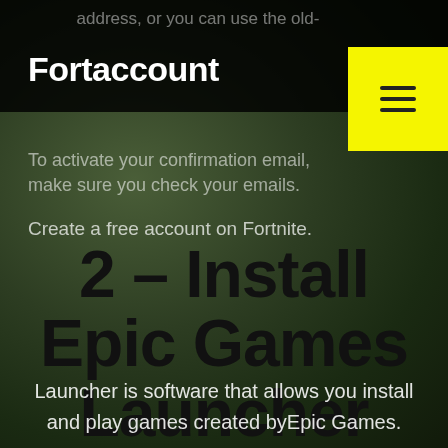address, or you can use the old-
Fortaccount
To activate your confirmation email, make sure you check your emails.
Create a free account on Fortnite.
2 – Install Epic Games Launcher
Launcher is software that allows you install and play games created byEpic Games.